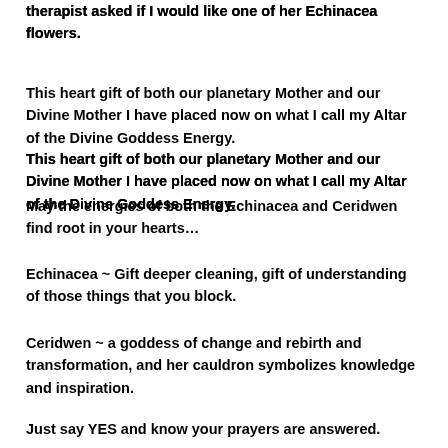therapist asked if I would like one of her Echinacea flowers.
This heart gift of both our planetary Mother and our Divine Mother I have placed now on what I call my Altar of the Divine Goddess Energy.
May the energies of both the Echinacea and Ceridwen find root in your hearts…
Echinacea ~ Gift deeper cleaning, gift of understanding of those things that you block.
Ceridwen ~ a goddess of change and rebirth and transformation, and her cauldron symbolizes knowledge and inspiration.
Just say YES and know your prayers are answered.